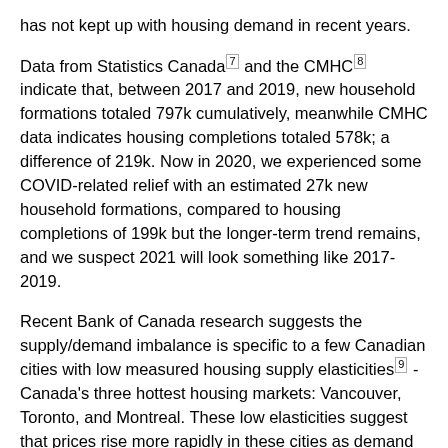has not kept up with housing demand in recent years.
Data from Statistics Canada [7] and the CMHC [8] indicate that, between 2017 and 2019, new household formations totaled 797k cumulatively, meanwhile CMHC data indicates housing completions totaled 578k; a difference of 219k. Now in 2020, we experienced some COVID-related relief with an estimated 27k new household formations, compared to housing completions of 199k but the longer-term trend remains, and we suspect 2021 will look something like 2017-2019.
Recent Bank of Canada research suggests the supply/demand imbalance is specific to a few Canadian cities with low measured housing supply elasticities [9] - Canada's three hottest housing markets: Vancouver, Toronto, and Montreal. These low elasticities suggest that prices rise more rapidly in these cities as demand increases. Anecdotal evidence tends to support this inference.
Recently, economists at the Bank of Nova Scotia pointed out that Canada has the lowest number of housing units per 1,000 residents of any G7 country. Moreover, they estimate that an additional 100,000 housing units would have been necessary to keep the ratio of units to population stable. This estimate is in the same neighborhood as the